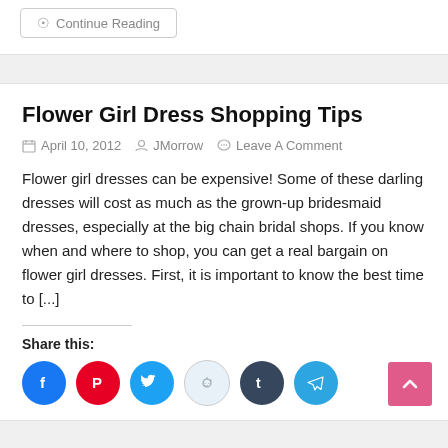Continue Reading
Flower Girl Dress Shopping Tips
April 10, 2012   JMorrow   Leave A Comment
Flower girl dresses can be expensive!  Some of these darling dresses will cost as much as the grown-up bridesmaid dresses, especially at the big chain bridal shops.  If you know when and where to shop, you can get a real bargain on flower girl dresses. First, it is important to know the best time to [...]
Share this: